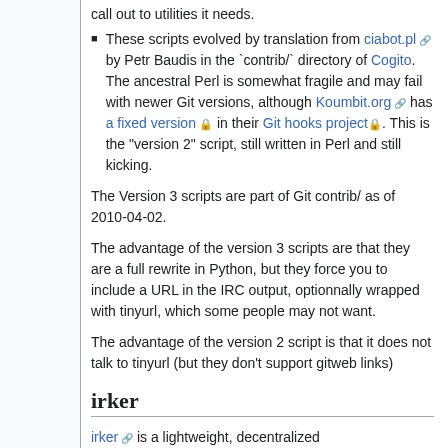call out to utilities it needs.
These scripts evolved by translation from ciabot.pl by Petr Baudis in the `contrib/` directory of Cogito. The ancestral Perl is somewhat fragile and may fail with newer Git versions, although Koumbit.org has a fixed version in their Git hooks project. This is the "version 2" script, still written in Perl and still kicking.
The Version 3 scripts are part of Git contrib/ as of 2010-04-02.
The advantage of the version 3 scripts are that they are a full rewrite in Python, but they force you to include a URL in the IRC output, optionnally wrapped with tinyurl, which some people may not want.
The advantage of the version 2 script is that it does not talk to tinyurl (but they don't support gitweb links)
irker
irker is a lightweight, decentralized